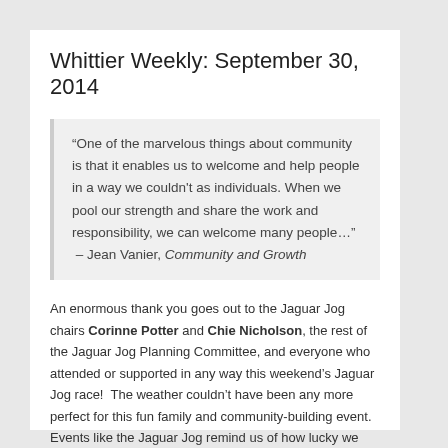Whittier Weekly: September 30, 2014
“One of the marvelous things about community is that it enables us to welcome and help people in a way we couldn't as individuals. When we pool our strength and share the work and responsibility, we can welcome many people…” – Jean Vanier, Community and Growth
An enormous thank you goes out to the Jaguar Jog chairs Corinne Potter and Chie Nicholson, the rest of the Jaguar Jog Planning Committee, and everyone who attended or supported in any way this weekend's Jaguar Jog race!  The weather couldn't have been any more perfect for this fun family and community-building event.  Events like the Jaguar Jog remind us of how lucky we are to be part of such an involved, talented, and generous community of students, staff, parents, and other family